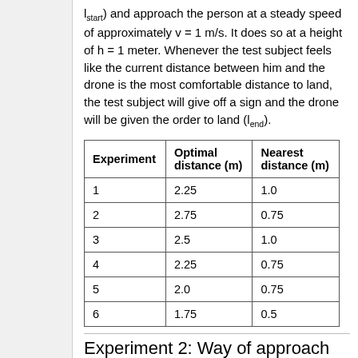l_start) and approach the person at a steady speed of approximately v = 1 m/s. It does so at a height of h = 1 meter. Whenever the test subject feels like the current distance between him and the drone is the most comfortable distance to land, the test subject will give off a sign and the drone will be given the order to land (l_end).
| Experiment | Optimal distance (m) | Nearest distance (m) |
| --- | --- | --- |
| 1 | 2.25 | 1.0 |
| 2 | 2.75 | 0.75 |
| 3 | 2.5 | 1.0 |
| 4 | 2.25 | 0.75 |
| 5 | 2.0 | 0.75 |
| 6 | 1.75 | 0.5 |
Experiment 2: Way of approach